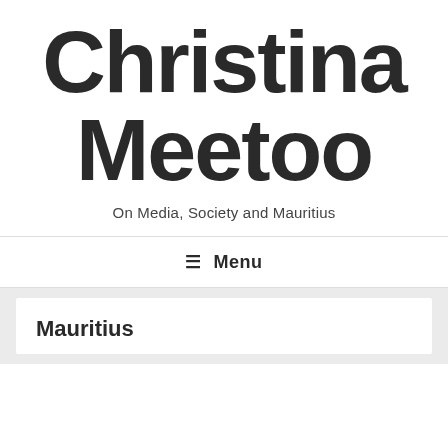Christina Meetoo
On Media, Society and Mauritius
≡ Menu
Mauritius